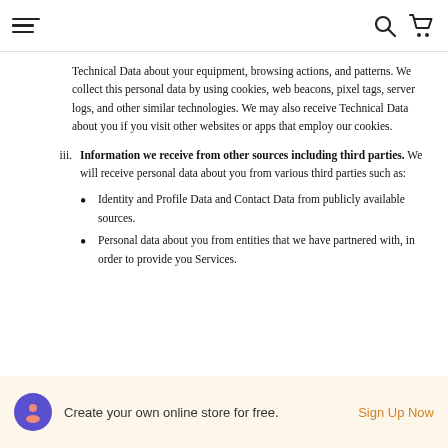[hamburger menu] [search icon] [cart icon]
Technical Data about your equipment, browsing actions, and patterns. We collect this personal data by using cookies, web beacons, pixel tags, server logs, and other similar technologies. We may also receive Technical Data about you if you visit other websites or apps that employ our cookies.
iii. Information we receive from other sources including third parties. We will receive personal data about you from various third parties such as:
Identity and Profile Data and Contact Data from publicly available sources.
Personal data about you from entities that we have partnered with, in order to provide you Services.
Create your own online store for free. Sign Up Now